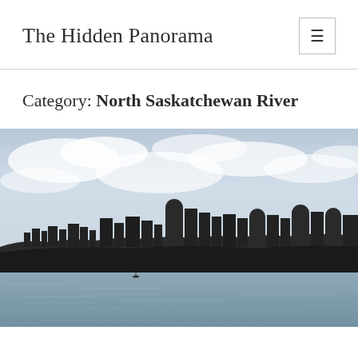The Hidden Panorama
Category: North Saskatchewan River
[Figure (photo): Panoramic cityscape photo of Edmonton's downtown skyline silhouetted against a cloudy sky, taken from across the North Saskatchewan River. The river occupies the lower third of the image, with calm water reflecting the sky. City buildings and skyscrapers form the skyline in the middle of the image.]